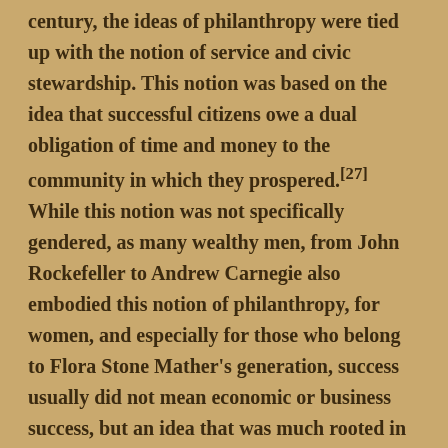century, the ideas of philanthropy were tied up with the notion of service and civic stewardship. This notion was based on the idea that successful citizens owe a dual obligation of time and money to the community in which they prospered.[27] While this notion was not specifically gendered, as many wealthy men, from John Rockefeller to Andrew Carnegie also embodied this notion of philanthropy, for women, and especially for those who belong to Flora Stone Mather's generation, success usually did not mean economic or business success, but an idea that was much rooted in notions of Christian missionary, devoutness,